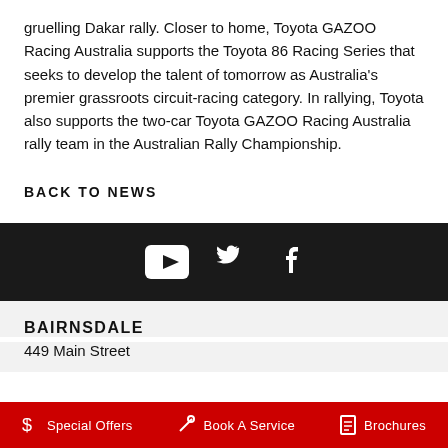gruelling Dakar rally. Closer to home, Toyota GAZOO Racing Australia supports the Toyota 86 Racing Series that seeks to develop the talent of tomorrow as Australia's premier grassroots circuit-racing category. In rallying, Toyota also supports the two-car Toyota GAZOO Racing Australia rally team in the Australian Rally Championship.
BACK TO NEWS
[Figure (infographic): Social media icons for YouTube, Twitter, and Facebook on a dark background]
BAIRNSDALE
449 Main Street
Special Offers   Book A Service   Brochures